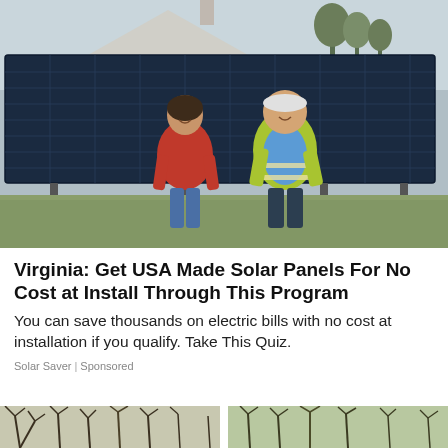[Figure (photo): Two people standing in a grassy field in front of a large array of dark solar panels. A white house is visible in the background. The woman on the left wears a red hoodie and jeans; the man on the right wears a yellow safety vest and dark pants.]
Virginia: Get USA Made Solar Panels For No Cost at Install Through This Program
You can save thousands on electric bills with no cost at installation if you qualify. Take This Quiz.
Solar Saver | Sponsored
[Figure (photo): Partial view of two outdoor photos side by side at the bottom of the page, showing trees with bare branches and a landscape scene.]